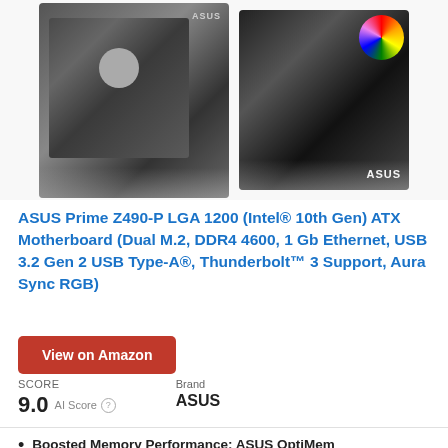[Figure (photo): Two product images of ASUS motherboard and product box side by side on a light background]
ASUS Prime Z490-P LGA 1200 (Intel® 10th Gen) ATX Motherboard (Dual M.2, DDR4 4600, 1 Gb Ethernet, USB 3.2 Gen 2 USB Type-A®, Thunderbolt™ 3 Support, Aura Sync RGB)
View on Amazon
SCORE
9.0 AI Score
Brand
ASUS